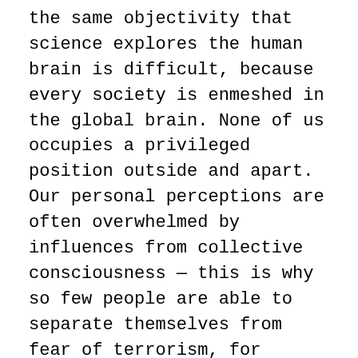the same objectivity that science explores the human brain is difficult, because every society is enmeshed in the global brain. None of us occupies a privileged position outside and apart. Our personal perceptions are often overwhelmed by influences from collective consciousness — this is why so few people are able to separate themselves from fear of terrorism, for example, and why the vast majority don't even try. Yet the more objectively we observe the global brain, the more understanding it yields. :Let me continue with describing some of the salient features that are common to an individual brain and the global brain.